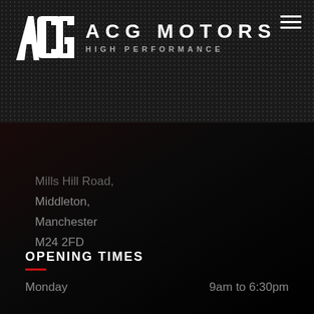[Figure (logo): ACG Motors High Performance logo with stylized ACG letters icon and text]
Mills Hill Road,
Middleton,
Manchester
M24 2FD
0161 655 3647
07701 334 786
info@acgmotors.co.uk
OPENING TIMES
Monday    9am to 6:30pm